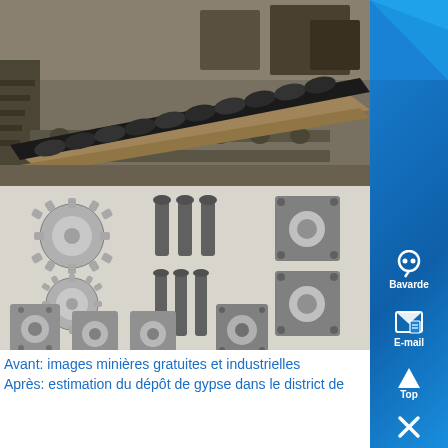[Figure (photo): Industrial photo showing a large metal shaft/screw auger component on a conveyor or roller system in a factory setting. Dark metal cylindrical screw lying on angled metal support beams, industrial machinery visible in background.]
[Figure (photo): Photo showing mechanical parts laid out on a white surface: two sprocket gears (toothed wheels), several bolts/rods, square mounting plates, and bearing housing blocks arranged in a display pattern.]
Avant: images minières gratuites et industrielles
Après: estimation du dépôt de gypse dans le district de